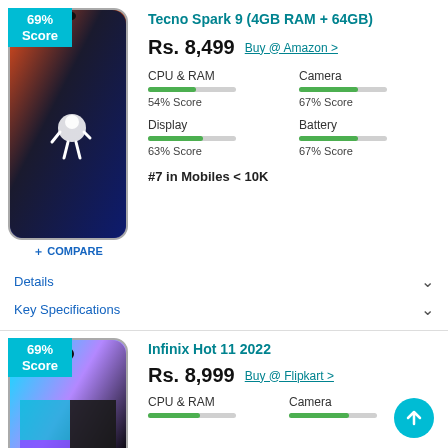[Figure (photo): Tecno Spark 9 smartphone with 69% Score badge]
Tecno Spark 9 (4GB RAM + 64GB)
Rs. 8,499  Buy @ Amazon >
CPU & RAM 54% Score | Camera 67% Score | Display 63% Score | Battery 67% Score
#7 in Mobiles < 10K
+ COMPARE
Details
Key Specifications
[Figure (photo): Infinix Hot 11 2022 smartphone with 69% Score badge]
Infinix Hot 11 2022
Rs. 8,999  Buy @ Flipkart >
CPU & RAM | Camera